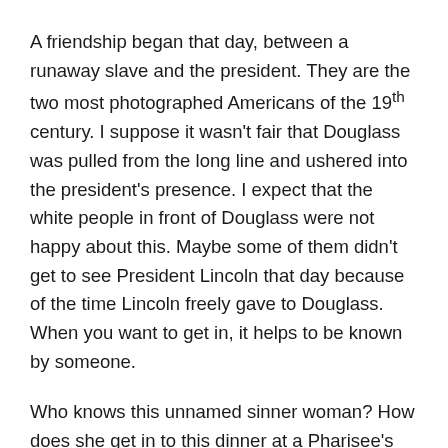A friendship began that day, between a runaway slave and the president. They are the two most photographed Americans of the 19th century. I suppose it wasn't fair that Douglass was pulled from the long line and ushered into the president's presence. I expect that the white people in front of Douglass were not happy about this. Maybe some of them didn't get to see President Lincoln that day because of the time Lincoln freely gave to Douglass. When you want to get in, it helps to be known by someone.
Who knows this unnamed sinner woman? How does she get in to this dinner at a Pharisee's house? Who let her in? Sometimes a home in that time would have two entrances: the front door, the proper entrance, and a back door, which servants or women might use. She could have snuck in the back door without being noticed. Or she could have simply crashed the front